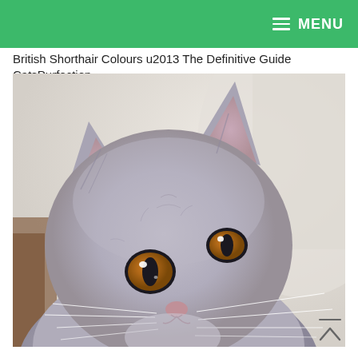MENU
British Shorthair Colours u2013 The Definitive Guide CatsPurfection
[Figure (photo): A grey British Shorthair cat with amber/orange eyes looking upward, photographed close-up against a light blurred background. The cat has round face, thick dense grey fur, and prominent whiskers.]
Scroll to top button